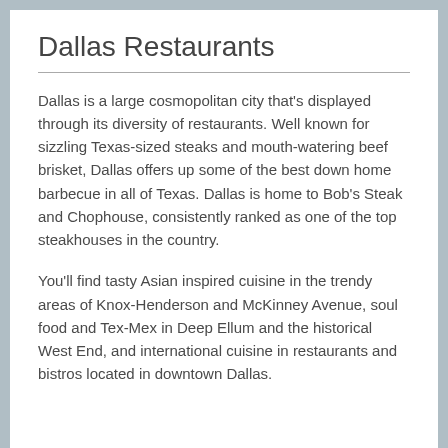Dallas Restaurants
Dallas is a large cosmopolitan city that's displayed through its diversity of restaurants. Well known for sizzling Texas-sized steaks and mouth-watering beef brisket, Dallas offers up some of the best down home barbecue in all of Texas. Dallas is home to Bob's Steak and Chophouse, consistently ranked as one of the top steakhouses in the country.
You'll find tasty Asian inspired cuisine in the trendy areas of Knox-Henderson and McKinney Avenue, soul food and Tex-Mex in Deep Ellum and the historical West End, and international cuisine in restaurants and bistros located in downtown Dallas.